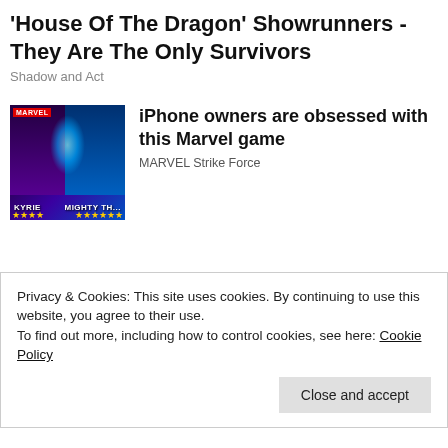'House Of The Dragon' Showrunners - They Are The Only Survivors
Shadow and Act
iPhone owners are obsessed with this Marvel game
MARVEL Strike Force
[Figure (photo): Marvel Strike Force game promotional image showing characters Kyrie and Mighty Thor with star ratings]
$900 Grocery Allowance For Seniors On Medicare
bestmedicareplans.com
[Figure (photo): Photo of people shopping in a grocery store aisle with shopping carts]
Privacy & Cookies: This site uses cookies. By continuing to use this website, you agree to their use.
To find out more, including how to control cookies, see here: Cookie Policy
Close and accept